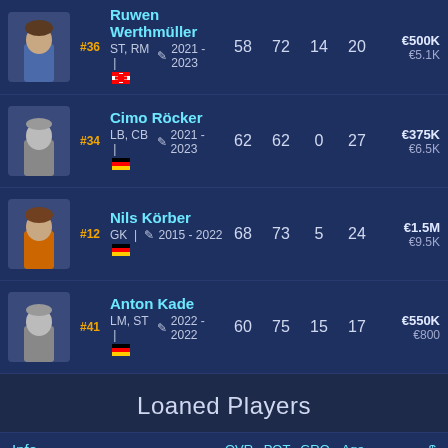| Photo | # | Name/Info | OVR | POT | GRO | Age | $ |
| --- | --- | --- | --- | --- | --- | --- | --- |
| [photo] | #36 | Ruwen Werthmüller | ST, RM | 2021 - 2023 | 58 | 72 | 14 | 20 | €500K / €5.1K |
| [photo] | #34 | Cimo Röcker | LB, CB | 2021 - 2023 | 62 | 62 | 0 | 27 | €375K / €6.5K |
| [photo] | #12 | Nils Körber | GK | 2015 - 2022 | 68 | 73 | 5 | 24 | €1.5M / €9.5K |
| [photo] | #41 | Anton Kade | LM, ST | 2022 - 2022 | 60 | 75 | 15 | 17 | €550K / €800 |
Loaned Players
| Info | OVR | POT | GRO | Age | $ |
| --- | --- | --- | --- | --- | --- |